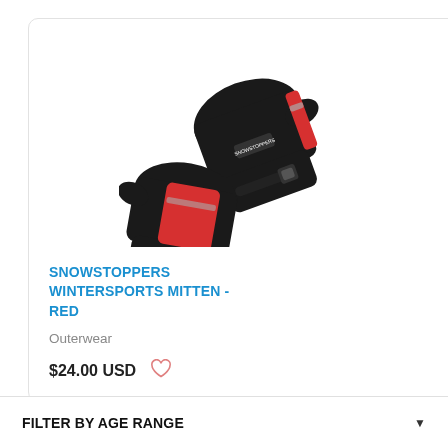[Figure (photo): Pair of black and red winter sports mittens/snowstoppers shown from above at an angle, with red accent color on the palm side and a strap closure]
SNOWSTOPPERS WINTERSPORTS MITTEN - RED
Outerwear
$24.00 USD
FILTER BY AGE RANGE